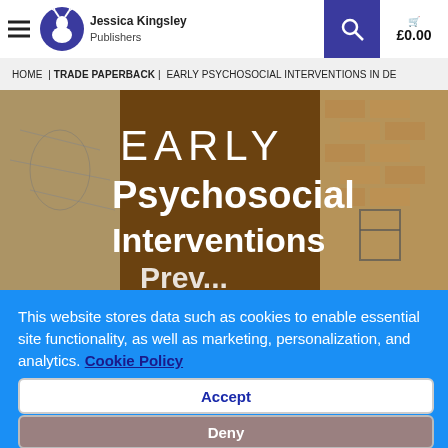Jessica Kingsley Publishers | £0.00
HOME | TRADE PAPERBACK | EARLY PSYCHOSOCIAL INTERVENTIONS IN DE
[Figure (photo): Book cover for 'Early Psychosocial Interventions' showing the title text 'EARLY Psychosocial Interventions' in white over a dark brown/sepia background with map and artistic imagery]
This website stores data such as cookies to enable essential site functionality, as well as marketing, personalization, and analytics. Cookie Policy
Accept
Deny